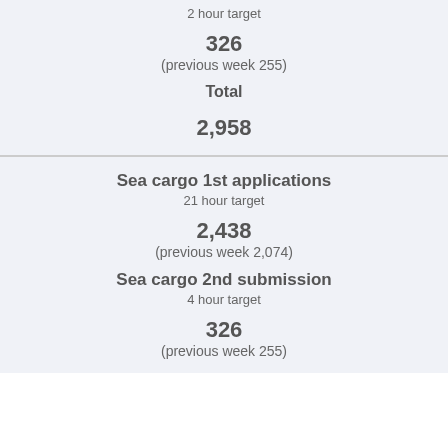2 hour target
326
(previous week 255)
Total
2,958
Sea cargo 1st applications
21 hour target
2,438
(previous week 2,074)
Sea cargo 2nd submission
4 hour target
326
(previous week 255)